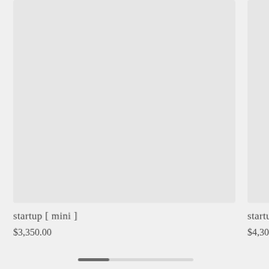[Figure (photo): Product card image placeholder — light gray rectangle for startup [mini]]
startup [ mini ]
$3,350.00
[Figure (photo): Partially visible product card image placeholder — light gray rectangle for startup [fin...]]
startup [ fin...
$4,300.00